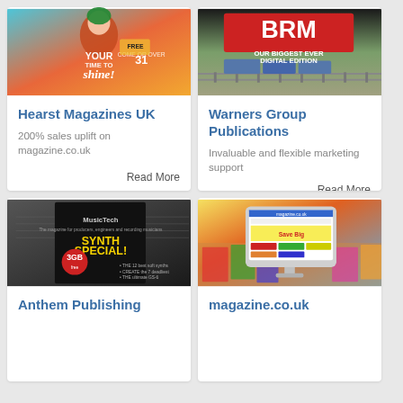[Figure (photo): Hearst Magazines UK cover image showing a woman in red jacket - magazine cover]
Hearst Magazines UK
200% sales uplift on magazine.co.uk
Read More
[Figure (photo): Warners Group Publications - BRM magazine cover showing trains and text OUR BIGGEST EVER DIGITAL EDITION]
Warners Group Publications
Invaluable and flexible marketing support
Read More
[Figure (photo): Anthem Publishing - MusicTech magazine cover with SYNTH SPECIAL! headline and 3GB free samples]
Anthem Publishing
[Figure (photo): magazine.co.uk website shown on a desktop computer monitor, surrounded by magazines]
magazine.co.uk